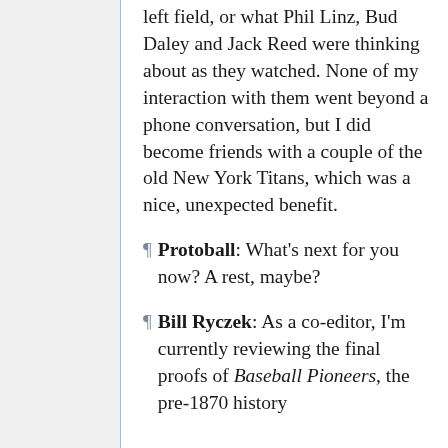left field, or what Phil Linz, Bud Daley and Jack Reed were thinking about as they watched. None of my interaction with them went beyond a phone conversation, but I did become friends with a couple of the old New York Titans, which was a nice, unexpected benefit.
Protoball: What's next for you now? A rest, maybe?
Bill Ryczek: As a co-editor, I'm currently reviewing the final proofs of Baseball Pioneers, the pre-1870 history